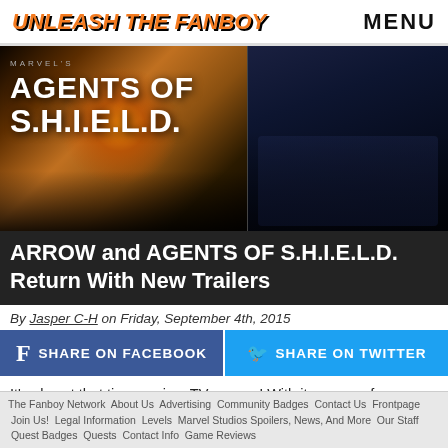Unleash The Fanboy  MENU
[Figure (photo): Hero banner image split into two panels: left panel shows Agents of S.H.I.E.L.D. logo/title card with cast members, right panel shows Arrow cast members standing in dark moody lighting]
ARROW and AGENTS OF S.H.I.E.L.D. Return With New Trailers
By Jasper C-H on Friday, September 4th, 2015
SHARE ON FACEBOOK  SHARE ON TWITTER
It's almost that time again – TV season! With it comes, of course, new trailers, and today two hit for Arrow and Agents
The Fanboy Network  About Us  Advertising  Community Badges  Contact Us  Frontpage  Join Us!  Legal Information  Levels  Marvel Studios Spoilers, News, And More  Our Staff  Quest Badges  Quests  Contact Info  Game Reviews